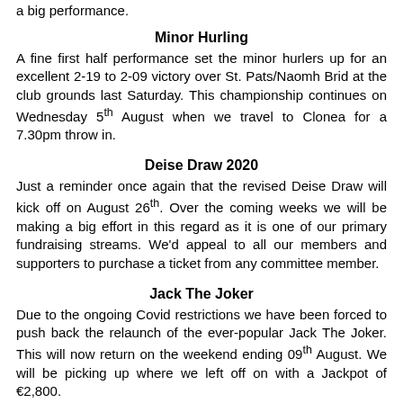a big performance.
Minor Hurling
A fine first half performance set the minor hurlers up for an excellent 2-19 to 2-09 victory over St. Pats/Naomh Brid at the club grounds last Saturday. This championship continues on Wednesday 5th August when we travel to Clonea for a 7.30pm throw in.
Deise Draw 2020
Just a reminder once again that the revised Deise Draw will kick off on August 26th. Over the coming weeks we will be making a big effort in this regard as it is one of our primary fundraising streams. We'd appeal to all our members and supporters to purchase a ticket from any committee member.
Jack The Joker
Due to the ongoing Covid restrictions we have been forced to push back the relaunch of the ever-popular Jack The Joker. This will now return on the weekend ending 09th August. We will be picking up where we left off on with a Jackpot of €2,800.